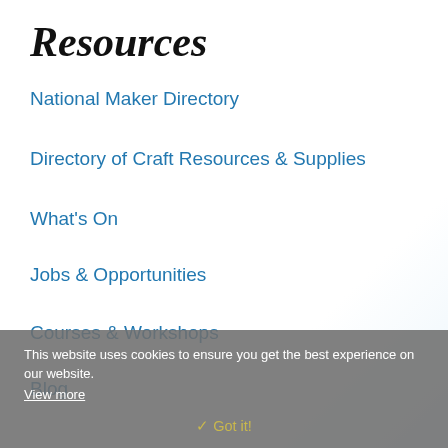Resources
National Maker Directory
Directory of Craft Resources & Supplies
What's On
Jobs & Opportunities
Courses & Workshops
Blog
National Maker Directory
This website uses cookies to ensure you get the best experience on our website. View more
✓ Got it!